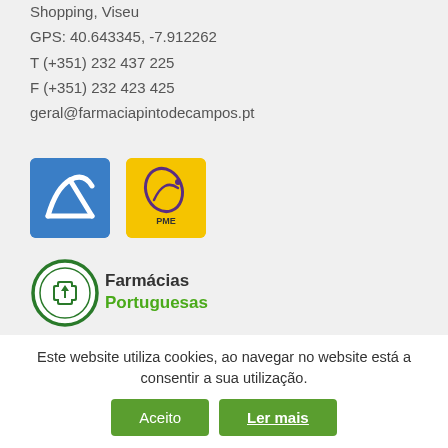Shopping, Viseu
GPS: 40.643345, -7.912262
T (+351) 232 437 225
F (+351) 232 423 425
geral@farmaciapintodecampos.pt
[Figure (logo): Blue square logo with white stylized L/checkmark shape]
[Figure (logo): Yellow square logo with stylized PME emblem and star]
[Figure (logo): Farmacias Portuguesas circular green cross logo with text]
Este website utiliza cookies, ao navegar no website está a consentir a sua utilização.
Aceito
Ler mais